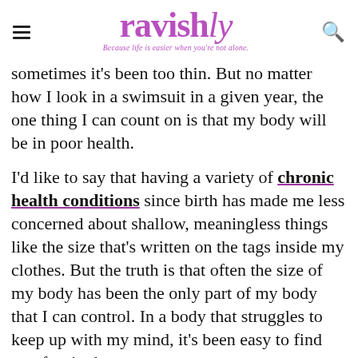ravishly — Because life is easier when you're not alone.
sometimes it's been too thin. But no matter how I look in a swimsuit in a given year, the one thing I can count on is that my body will be in poor health.
I'd like to say that having a variety of chronic health conditions since birth has made me less concerned about shallow, meaningless things like the size that's written on the tags inside my clothes. But the truth is that often the size of my body has been the only part of my body that I can control. In a body that struggles to keep up with my mind, it's been easy to find comfort in that